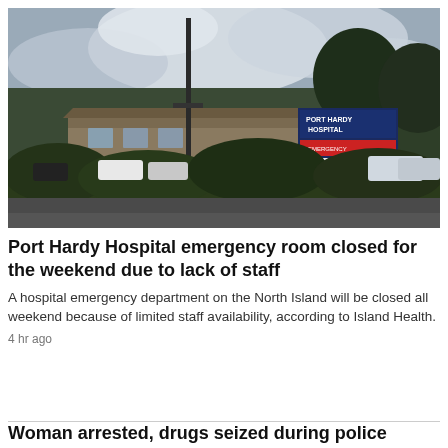[Figure (photo): Outdoor photo of Port Hardy Hospital building with cloudy sky, trees, parked cars, and the Port Hardy Hospital sign visible in the foreground.]
Port Hardy Hospital emergency room closed for the weekend due to lack of staff
A hospital emergency department on the North Island will be closed all weekend because of limited staff availability, according to Island Health.
4 hr ago
Woman arrested, drugs seized during police